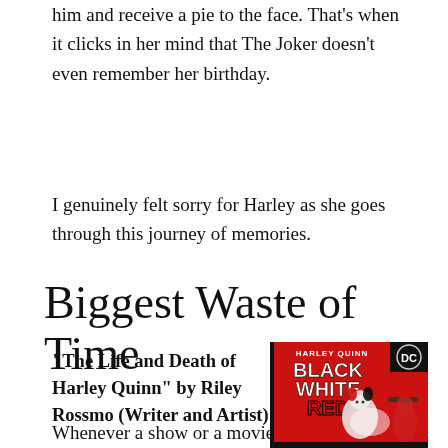him and receive a pie to the face. That's when it clicks in her mind that The Joker doesn't even remember her birthday.
I genuinely felt sorry for Harley as she goes through this journey of memories.
Biggest Waste of Time
“The Life and Death of Harley Quinn” by Riley Rossmo (Writer and Artist)
Whenever a show or a movie
[Figure (photo): Comic book cover of Harley Quinn: Black White Red featuring Harley Quinn and other characters on a red background with DC logo]